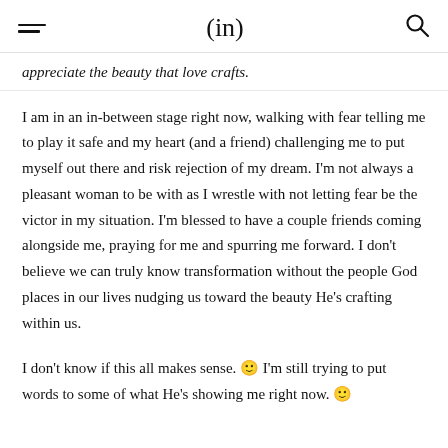(in)
appreciate the beauty that love crafts.
I am in an in-between stage right now, walking with fear telling me to play it safe and my heart (and a friend) challenging me to put myself out there and risk rejection of my dream. I'm not always a pleasant woman to be with as I wrestle with not letting fear be the victor in my situation. I'm blessed to have a couple friends coming alongside me, praying for me and spurring me forward. I don't believe we can truly know transformation without the people God places in our lives nudging us toward the beauty He's crafting within us.
I don't know if this all makes sense. 🙂 I'm still trying to put words to some of what He's showing me right now. 🙂